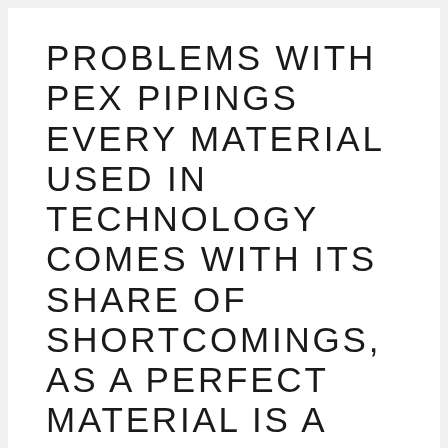PROBLEMS WITH PEX PIPINGS EVERY MATERIAL USED IN TECHNOLOGY COMES WITH ITS SHARE OF SHORTCOMINGS, AS A PERFECT MATERIAL IS A MYTH.
POSTED ON 2018-06-24
For instance, the tenant above you might cause the bathtub its use in the real world, gallons of water as opposed to controlled lab conditions. The salts in hard